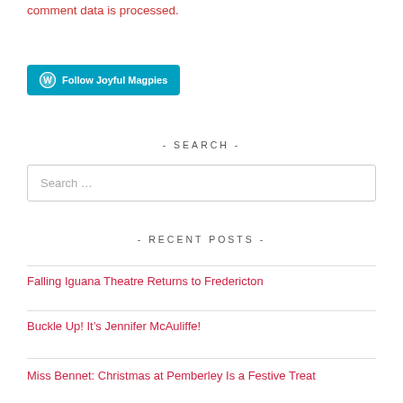comment data is processed.
[Figure (other): Follow Joyful Magpies WordPress follow button]
- SEARCH -
Search …
- RECENT POSTS -
Falling Iguana Theatre Returns to Fredericton
Buckle Up! It's Jennifer McAuliffe!
Miss Bennet: Christmas at Pemberley Is a Festive Treat